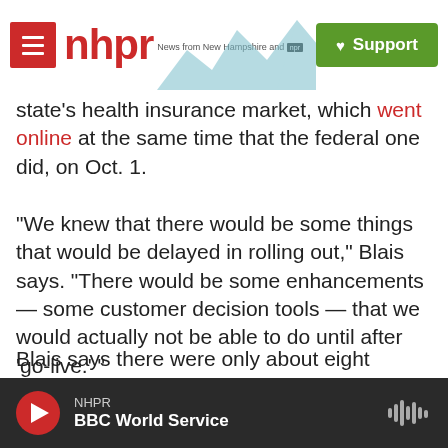NHPR — News from New Hampshire and NPR | Support
state's health insurance market, which went online at the same time that the federal one did, on Oct. 1.
"We knew that there would be some things that would be delayed in rolling out," Blais says. "There would be some enhancements — some customer decision tools — that we would actually not be able to do until after 'go-live.' "
Blais says there were only about eight contractors working on Colorado's system, and one company was clearly in charge. That company was another subsidiary of CGI...
NHPR — BBC World Service